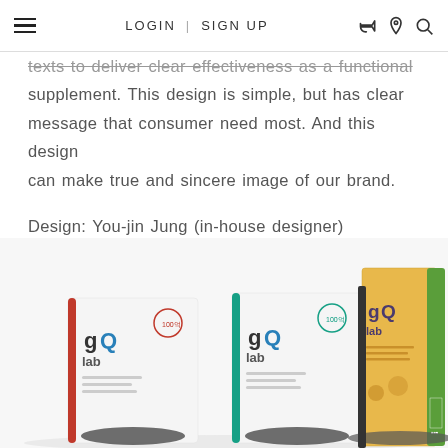LOGIN | SIGN UP
texts to deliver clear effectiveness as a functional supplement. This design is simple, but has clear message that consumer need most. And this design can make true and sincere image of our brand.

Design: You-jin Jung (in-house designer)
[Figure (photo): Product photo showing three gQ lab probiotic supplement boxes arranged together — two smaller front-facing white boxes with Korean text and one larger yellow/gold box, plus a green side panel visible on the right. The boxes feature the 'gQ lab' brand logo.]